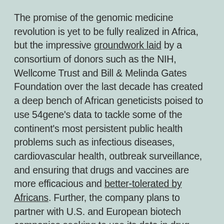The promise of the genomic medicine revolution is yet to be fully realized in Africa, but the impressive groundwork laid by a consortium of donors such as the NIH, Wellcome Trust and Bill & Melinda Gates Foundation over the last decade has created a deep bench of African geneticists poised to use 54gene's data to tackle some of the continent's most persistent public health problems such as infectious diseases, cardiovascular health, outbreak surveillance, and ensuring that drugs and vaccines are more efficacious and better-tolerated by Africans. Further, the company plans to partner with U.S. and European biotech companies seeking to use its data in drug discovery for a widespectrum of treatments for conditions ranging from cancer to heart disease.